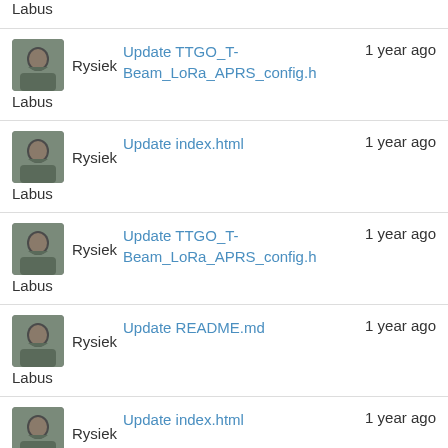Rysiek Labus — Update TTGO_T-Beam_LoRa_APRS_config.h — 1 year ago
Rysiek Labus — Update index.html — 1 year ago
Rysiek Labus — Update TTGO_T-Beam_LoRa_APRS_config.h — 1 year ago
Rysiek Labus — Update README.md — 1 year ago
Rysiek Labus — Update index.html — 1 year ago
Rysiek Labus — PGAPRS LOGO is here :) — 1 year ago